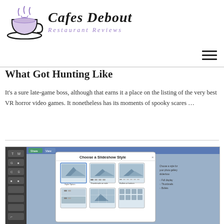Cafes Debout — Restaurant Reviews (logo)
What Got Hunting Like
It's a sure late-game boss, although that earns it a place on the listing of the very best VR horror video games. It nonetheless has its moments of spooky scares …
[Figure (screenshot): Screenshot of a web editor interface showing a 'Choose a Slideshow Style' dialog box with thumbnail options for slideshow layouts, set against a dark sidebar panel on the left and a blue-toned background.]